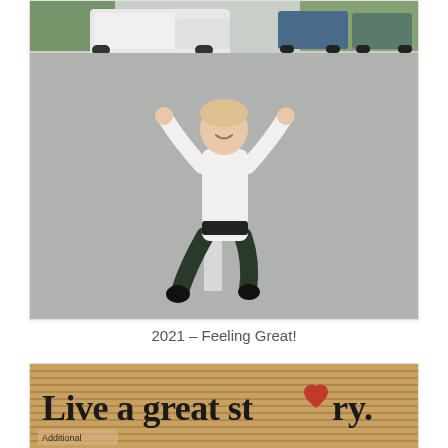[Figure (photo): A woman jumping in the air with arms raised in a parking lot, wearing a white long-sleeve shirt and dark pants. A white pickup truck and green trees are visible in the background.]
2021 – Feeling Great!
[Figure (photo): A wooden sign with text reading 'Live a great story.' with a heart symbol replacing the 'o' in story. Additional text partially visible at the bottom.]